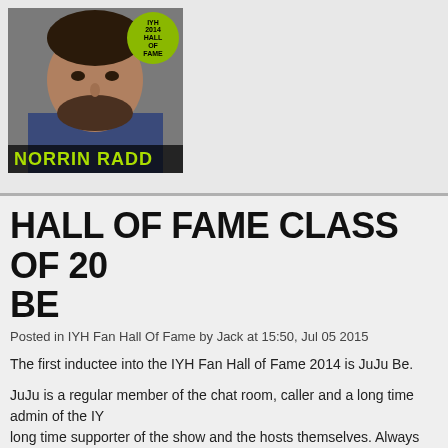[Figure (photo): Photo of Norrin Radd with IYH 2014 Hall of Fame badge overlay and name banner]
HALL OF FAME CLASS OF 2014 JUJU BE
Posted in IYH Fan Hall Of Fame by Jack at 15:50, Jul 05 2015
The first inductee into the IYH Fan Hall of Fame 2014 is JuJu Be.
JuJu is a regular member of the chat room, caller and a long time admin of the IYH page. JuJu is a long time supporter of the show and the hosts themselves. Always fun to have around and always helpful, JuJu's help is invaluable to the IYH Facebook. Finding a fair, balanced and honest admin is something to be proud JuJu fits all of those.
We are proud to welcome JuJu Be aka JuJu of the Bees into the IYH Fan Hall of
[Figure (photo): Photo of JuJu Be with IYH 2014 Hall of Fame badge overlay]